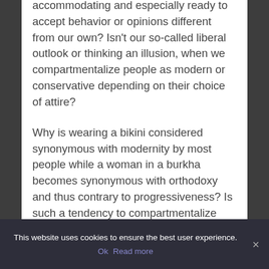accommodating and especially ready to accept behavior or opinions different from our own? Isn't our so-called liberal outlook or thinking an illusion, when we compartmentalize people as modern or conservative depending on their choice of attire?

Why is wearing a bikini considered synonymous with modernity by most people while a woman in a burkha becomes synonymous with orthodoxy and thus contrary to progressiveness? Is such a tendency to compartmentalize people based on
This website uses cookies to ensure the best user experience.
Ok   Read more